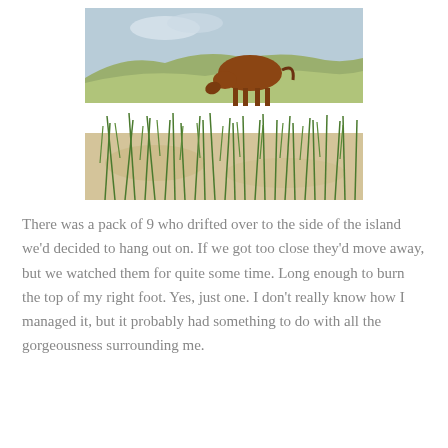[Figure (photo): A brown horse grazing on sandy grass-covered dunes with blue sky and scrubby hills in the background.]
There was a pack of 9 who drifted over to the side of the island we'd decided to hang out on. If we got too close they'd move away, but we watched them for quite some time. Long enough to burn the top of my right foot. Yes, just one. I don't really know how I managed it, but it probably had something to do with all the gorgeousness surrounding me.